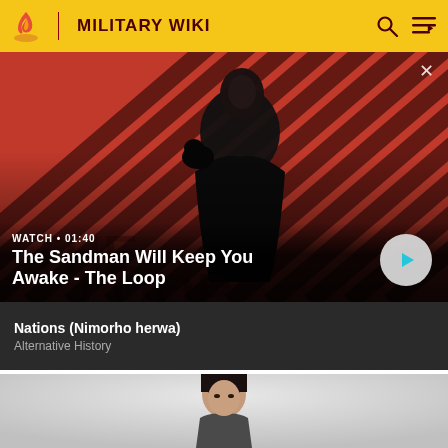MILITARY WIKI
[Figure (screenshot): Video banner with red and dark diagonal stripe background, a figure in black coat with a raven on shoulder, title overlay 'The Sandman Will Keep You Awake - The Loop', watch duration 01:40, play button]
WATCH • 01:40
The Sandman Will Keep You Awake - The Loop
Nations (Nimorho herwa)
Alternative History
[Figure (photo): Partial photo of a dark-haired man against a grey background, cropped at bottom of page]